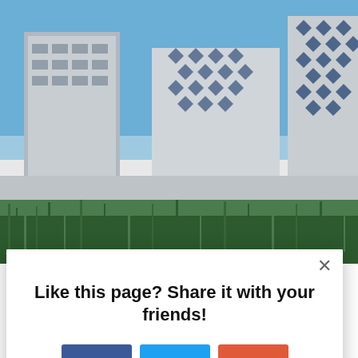[Figure (photo): Aerial/street view of modern urban buildings with glass facades, blue sky, green vegetation in foreground. Includes a distinctive patterned building on the right and modern office blocks on the left.]
[Figure (screenshot): Social sharing modal popup overlay on a webpage. White dialog box with close X button. Contains bold text 'Like this page? Share it with your friends!' and three social media buttons: Facebook (blue, f icon), Twitter (light blue, bird icon), Google+ or AddThis (red/orange, + icon). AddThis branding in bottom right corner.]
Like this page? Share it with your friends!